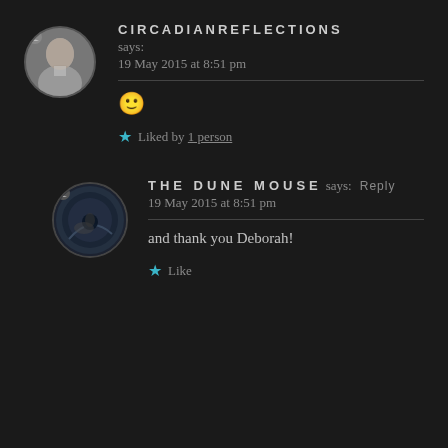[Figure (photo): Circular avatar of a woman, grayscale photo]
CIRCADIANREFLECTIONS says: 19 May 2015 at 8:51 pm
🙂
★ Liked by 1 person
[Figure (photo): Circular avatar with dark fisheye-style image]
THE DUNE MOUSE says: Reply 19 May 2015 at 8:51 pm
and thank you Deborah!
★ Like